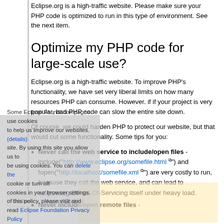Eclipse.org is a high-traffic website. Please make sure your PHP code is optimized to run in this type of environment. See the next item.
Optimize my PHP code for large-scale use?
Eclipse.org is a high-traffic website. To improve PHP's functionality, we have set very liberal limits on how many resources PHP can consume. However. if if your project is very popular, bad PHP code can slow the entire site down.
Of course, we could harden PHP to protect our website, but that would cut some functionality. Some tips for you:
Never call the web service to include/open files - include("http://www.eclipse.org/somefile.html") and fopen("http://localhost/somefile.xml") are very costly to run, because they call the web service, and can lead to eclipse.org Denial-Of-Servicing itself under heavy load.
Never include/open remote files -